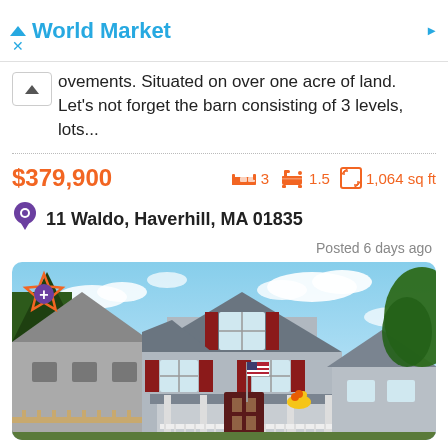World Market
ovements. Situated on over one acre of land. Let's not forget the barn consisting of 3 levels, lots...
$379,900  3 beds  1.5 baths  1,064 sq ft
11 Waldo, Haverhill, MA 01835
Posted 6 days ago
[Figure (photo): Exterior photo of a two-story gray house with red shutters, white porch railing, and an American flag, on a sunny day with blue sky and clouds.]